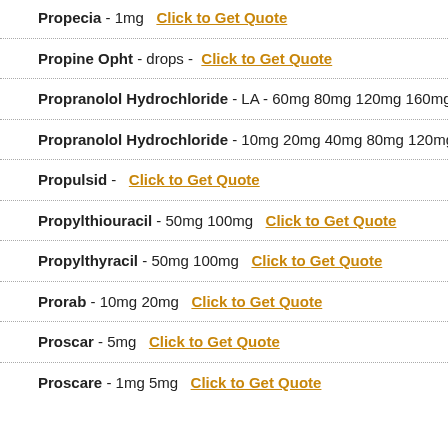Propecia - 1mg   Click to Get Quote
Propine Opht - drops -   Click to Get Quote
Propranolol Hydrochloride - LA - 60mg 80mg 120mg 160mg   Click
Propranolol Hydrochloride - 10mg 20mg 40mg 80mg 120mg   Click
Propulsid -   Click to Get Quote
Propylthiouracil - 50mg 100mg   Click to Get Quote
Propylthyracil - 50mg 100mg   Click to Get Quote
Prorab - 10mg 20mg   Click to Get Quote
Proscar - 5mg   Click to Get Quote
Proscare - 1mg 5mg   Click to Get Quote